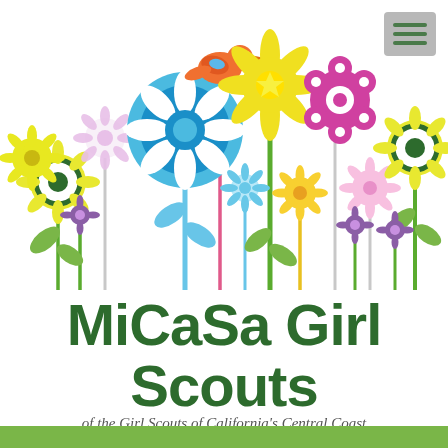[Figure (illustration): Colorful cartoon garden illustration with stylized flowers in yellow, green, blue, pink/purple, and a small orange bird perched on a tall stem. Various flower shapes including sunflowers, daisies, and circular blooms on stems with green leaves. White background.]
MiCaSa Girl Scouts
of the Girl Scouts of California's Central Coast